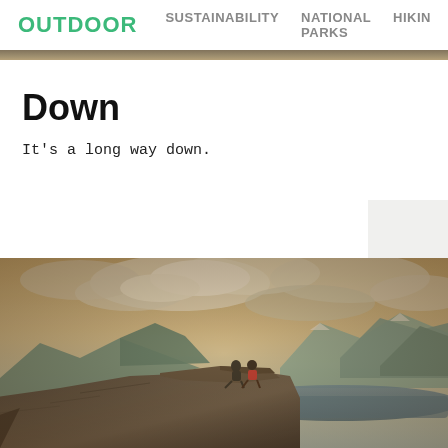OUTDOOR  SUSTAINABILITY  NATIONAL PARKS  HIKING
Down
It's a long way down.
[Figure (photo): Two people sitting on a cliff edge (Trolltunga, Norway) overlooking a dramatic fjord landscape with mountains and clouds in a warm sepia-toned photograph.]